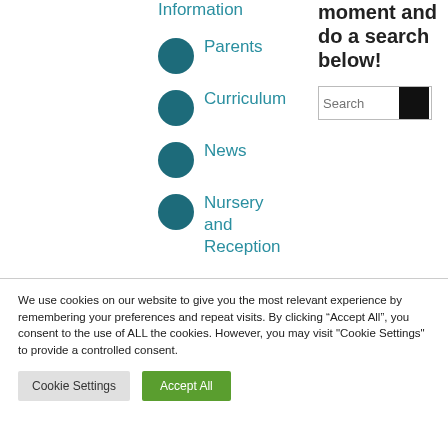Information
Parents
Curriculum
News
Nursery and Reception
moment and do a search below!
We use cookies on our website to give you the most relevant experience by remembering your preferences and repeat visits. By clicking “Accept All”, you consent to the use of ALL the cookies. However, you may visit "Cookie Settings" to provide a controlled consent.
Cookie Settings
Accept All